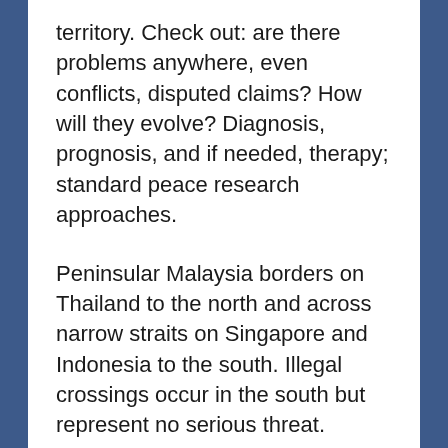territory. Check out: are there problems anywhere, even conflicts, disputed claims? How will they evolve? Diagnosis, prognosis, and if needed, therapy; standard peace research approaches.
Peninsular Malaysia borders on Thailand to the north and across narrow straits on Singapore and Indonesia to the south. Illegal crossings occur in the south but represent no serious threat.
The border to Thailand, however, is problematic, with the three southern provinces of Thailand being 85% Muslim-Malay. Together with the northern province of Malaysia, Kelantan, they were the Pattani Sultanate till the conquest by Thailand in 1785. The Thai rule was then sealed